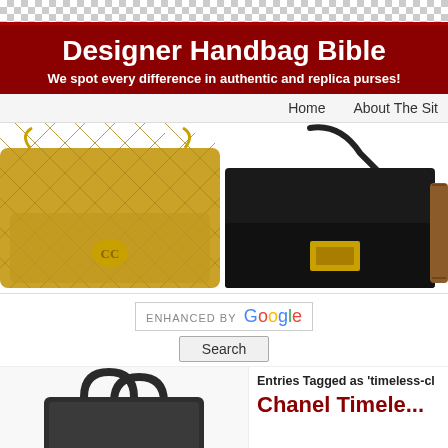Designer Handbag Bible — We spot every difference in authentic and replica purses!
Home   About The Sit
[Figure (photo): Three designer handbags displayed side by side: a yellow quilted Chanel flap bag with gold chain, a black Celine box bag with gold clasp and shoulder strap, and a brown leather crossbody bag with buckle straps. Partially visible on right edge.]
ENHANCED BY Google
Search
[Figure (photo): Bottom portion of a dark handbag with circular handles, partially visible, cropped.]
Entries Tagged as 'timeless-cl
Chanel Timele...